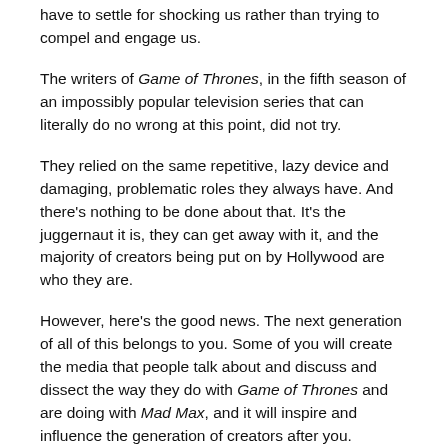have to settle for shocking us rather than trying to compel and engage us.
The writers of Game of Thrones, in the fifth season of an impossibly popular television series that can literally do no wrong at this point, did not try.
They relied on the same repetitive, lazy device and damaging, problematic roles they always have. And there’s nothing to be done about that. It’s the juggernaut it is, they can get away with it, and the majority of creators being put on by Hollywood are who they are.
However, here’s the good news. The next generation of all of this belongs to you. Some of you will create the media that people talk about and discuss and dissect the way they do with Game of Thrones and are doing with Mad Max, and it will inspire and influence the generation of creators after you.